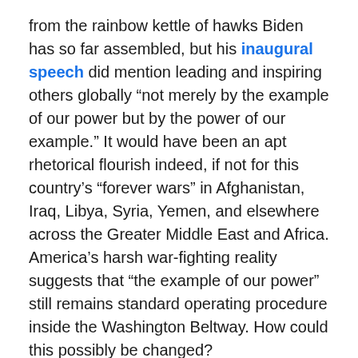from the rainbow kettle of hawks Biden has so far assembled, but his inaugural speech did mention leading and inspiring others globally “not merely by the example of our power but by the power of our example.” It would have been an apt rhetorical flourish indeed, if not for this country’s “forever wars” in Afghanistan, Iraq, Libya, Syria, Yemen, and elsewhere across the Greater Middle East and Africa. America’s harsh war-fighting reality suggests that “the example of our power” still remains standard operating procedure inside the Washington Beltway. How could this possibly be changed?
I have a few ideas for Biden — a 10-point plan, in fact, for turning his softball rhetoric into hardball reality. Consider, Mr. President, the following powerful examples you could set as America’s latest commander-in-chief:
1.  Stop the U.S. from building new generations of